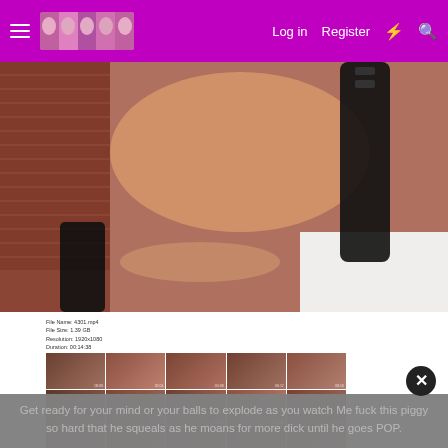Log in  Register
[Figure (photo): Adult content photo - person in black boots and lingerie on white bedding with brick wall background]
[Figure (screenshot): Contact sheet / video thumbnail grid showing File Name: 4301.mp4, File Size: 1.39 GB, Resolution: 1920x1080, Duration: 00:14:38 - 4x5 grid of video thumbnails]
Get ready for your mind or your balls to explode as you watch Me fuck this piggy so hard that he squeals as he moans for more dick until he goes POP.